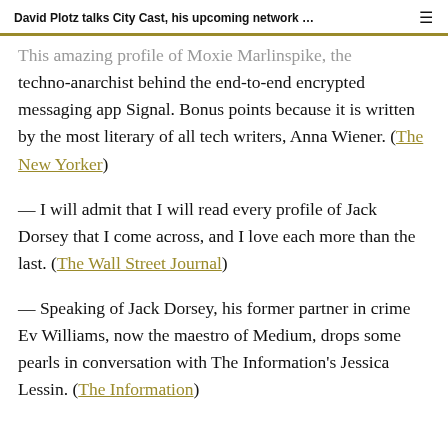David Plotz talks City Cast, his upcoming network …
This amazing profile of Moxie Marlinspike, the techno-anarchist behind the end-to-end encrypted messaging app Signal. Bonus points because it is written by the most literary of all tech writers, Anna Wiener. (The New Yorker)
— I will admit that I will read every profile of Jack Dorsey that I come across, and I love each more than the last. (The Wall Street Journal)
— Speaking of Jack Dorsey, his former partner in crime Ev Williams, now the maestro of Medium, drops some pearls in conversation with The Information's Jessica Lessin. (The Information)